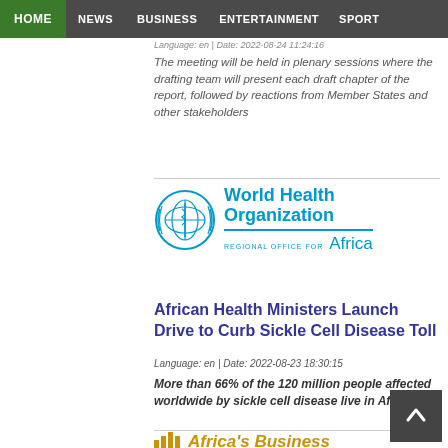HOME | NEWS | BUSINESS | ENTERTAINMENT | SPORT
Language: en | Date: 2022-08-24 11:24:16
The meeting will be held in plenary sessions where the drafting team will present each draft chapter of the report, followed by reactions from Member States and other stakeholders
[Figure (logo): World Health Organization Regional Office for Africa logo]
African Health Ministers Launch Drive to Curb Sickle Cell Disease Toll
Language: en | Date: 2022-08-23 18:30:15
More than 66% of the 120 million people affected worldwide by sickle cell disease live in Africa
[Figure (logo): Africa's Business logo]